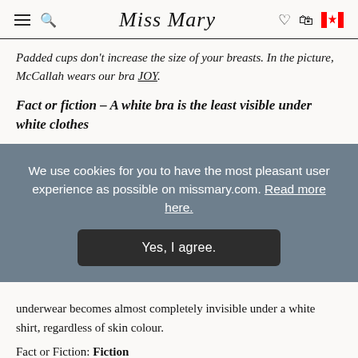Miss Mary
Padded cups don't increase the size of your breasts. In the picture, McCallah wears our bra JOY.
Fact or fiction – A white bra is the least visible under white clothes
We use cookies for you to have the most pleasant user experience as possible on missmary.com. Read more here.
Yes, I agree.
underwear becomes almost completely invisible under a white shirt, regardless of skin colour.
Fact or Fiction: Fiction